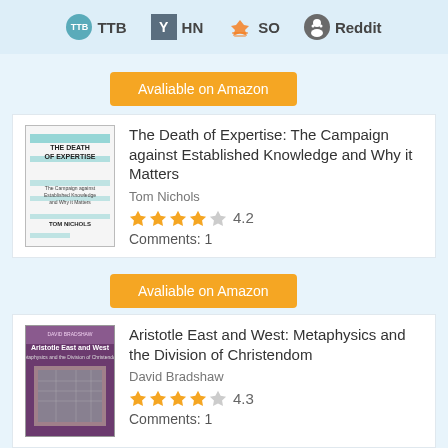TTB HN SO Reddit
[Figure (other): Available on Amazon button (orange)]
[Figure (photo): Book cover: The Death of Expertise by Tom Nichols]
The Death of Expertise: The Campaign against Established Knowledge and Why it Matters
Tom Nichols
4.2 stars
Comments: 1
[Figure (other): Available on Amazon button (orange)]
[Figure (photo): Book cover: Aristotle East and West: Metaphysics and the Division of Christendom by David Bradshaw]
Aristotle East and West: Metaphysics and the Division of Christendom
David Bradshaw
4.3 stars
Comments: 1